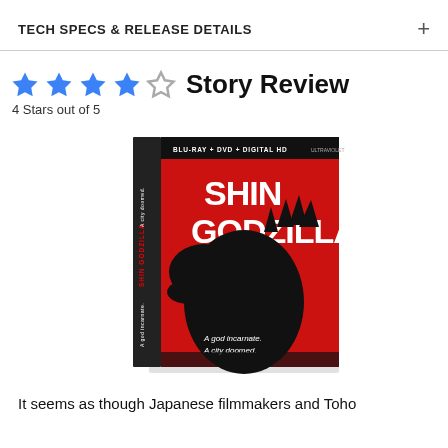TECH SPECS & RELEASE DETAILS
Story Review
4 Stars out of 5
[Figure (photo): Shin Godzilla Blu-ray + DVD + Digital HD Ultraviolet product box with red cover featuring Godzilla silhouette and text 'A god incarnate. A city doomed.']
It seems as though Japanese filmmakers and Toho